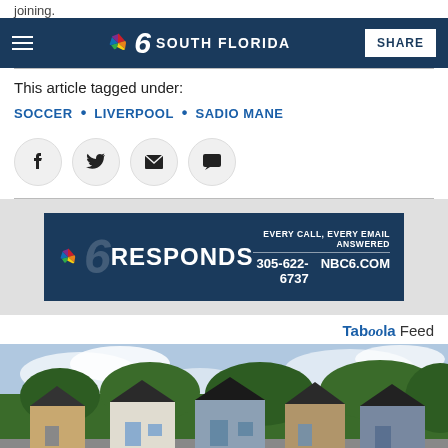joining.
NBC 6 SOUTH FLORIDA | SHARE
This article tagged under:
SOCCER • LIVERPOOL • SADIO MANE
[Figure (infographic): NBC 6 Responds advertisement banner: EVERY CALL, EVERY EMAIL ANSWERED | 305-622-6737 | NBC6.COM]
Taboola Feed
[Figure (photo): Row of small houses with siding and dark roofs, surrounded by trees under a partly cloudy sky]